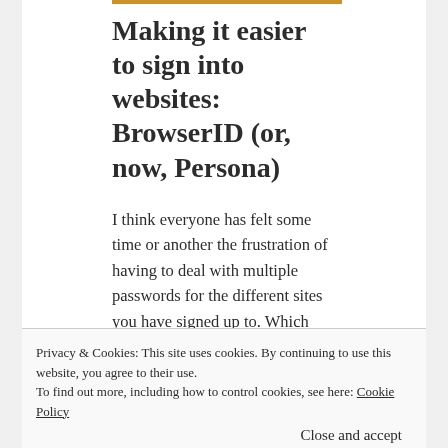Making it easier to sign into websites: BrowserID (or, now, Persona)
I think everyone has felt some time or another the frustration of having to deal with multiple passwords for the different sites you have signed up to. Which often leads...
Read More
Privacy & Cookies: This site uses cookies. By continuing to use this website, you agree to their use.
To find out more, including how to control cookies, see here: Cookie Policy
Close and accept
WEB PROGRAMMING
ACCOUNT  AUTHENTICATION  BROWSERID  LOGIN  MECHANISM
MOZILLA  OPENID  PASSWORD